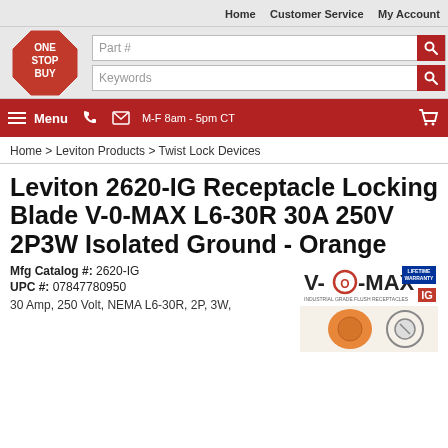Home | Customer Service | My Account
[Figure (logo): One Stop Buy logo - red octagon with white text]
Part #
Keywords
Menu  M-F 8am - 5pm CT
Home > Leviton Products > Twist Lock Devices
Leviton 2620-IG Receptacle Locking Blade V-0-MAX L6-30R 30A 250V 2P3W Isolated Ground - Orange
Mfg Catalog #: 2620-IG
UPC #: 07847780950
30 Amp, 250 Volt, NEMA L6-30R, 2P, 3W,
[Figure (logo): V-0-MAX Industrial Grade Flush Receptacles logo with Lifetime Warranty badge and IG mark, with product image]